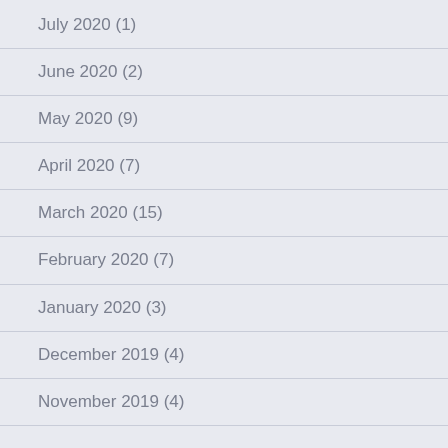July 2020 (1)
June 2020 (2)
May 2020 (9)
April 2020 (7)
March 2020 (15)
February 2020 (7)
January 2020 (3)
December 2019 (4)
November 2019 (4)